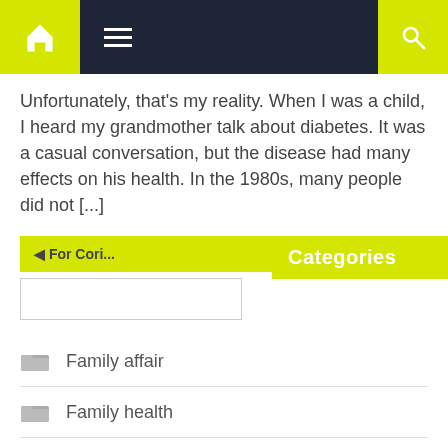Navigation bar with home, menu, and search icons
Unfortunately, that’s my reality. When I was a child, I heard my grandmother talk about diabetes. It was a casual conversation, but the disease had many effects on his health. In the 1980s, many people did not [...]
Categories
Family affair
Family health
Family planning
Family resources